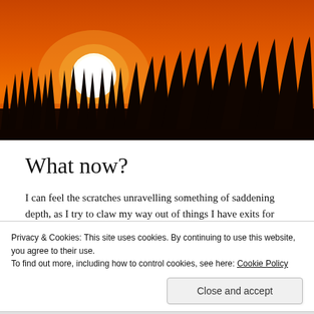[Figure (photo): Sunset landscape with silhouetted tall grass and a bright white sun against an orange sky]
What now?
I can feel the scratches unravelling something of saddening depth, as I try to claw my way out of things I have exits for
Privacy & Cookies: This site uses cookies. By continuing to use this website, you agree to their use.
To find out more, including how to control cookies, see here: Cookie Policy
Close and accept